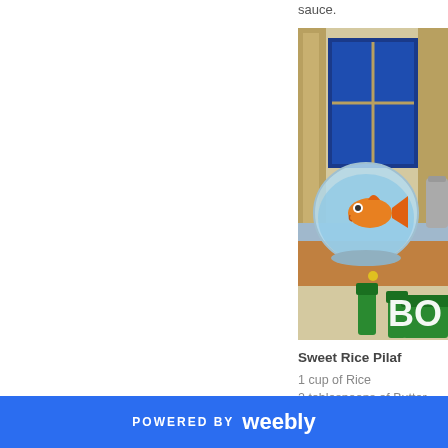sauce.
[Figure (illustration): Cartoon illustration of a kitchen counter scene with a goldfish in a round bowl, blue window, wooden cabinets, and green fence-like objects at the bottom. Bold white text 'BO' partially visible at bottom right.]
Sweet Rice Pilaf
1 cup of Rice
2 tablespoons of Butter
3 tablespoons of Honey
POWERED BY weebly